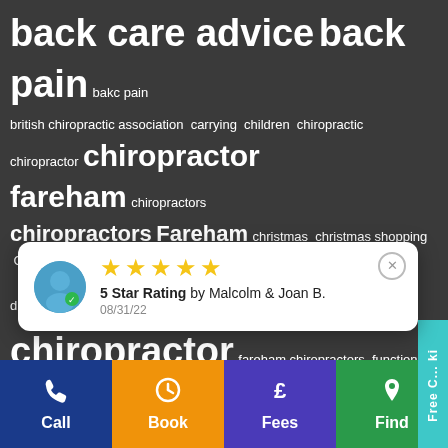[Figure (infographic): Tag/word cloud on dark grey background featuring chiropractic-related terms in varying font sizes: back care advice, back pain, bakc pain, british chiropractic association, carrying, children, chiropractic, chiropractor, chiropractor fareham, chiropractors, chiropractors Fareham, christmas, christmas shopping, Cycling, driving, exercise, exercises, fareham chiropractor, fareham chiropractors, functional sports assessment, gardening, habits, healthy eating, healthy living advice, Homewood Chiropractic, Homewood Chiropractic Clinic, Homewood Chiropractic Clinic Fareham, hydration, lifting, lower back]
[Figure (screenshot): White popup card showing 5 gold stars, text '5 Star Rating by Malcolm & Joan B.' and date '08/31/22', with a circular avatar icon in teal/blue]
Call | Book | Fees | Find